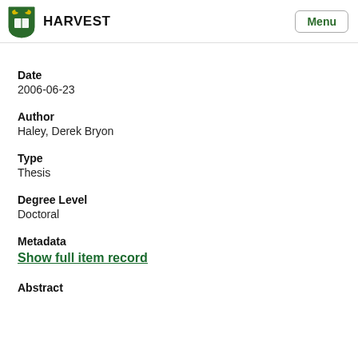HARVEST
Date
2006-06-23
Author
Haley, Derek Bryon
Type
Thesis
Degree Level
Doctoral
Metadata
Show full item record
Abstract